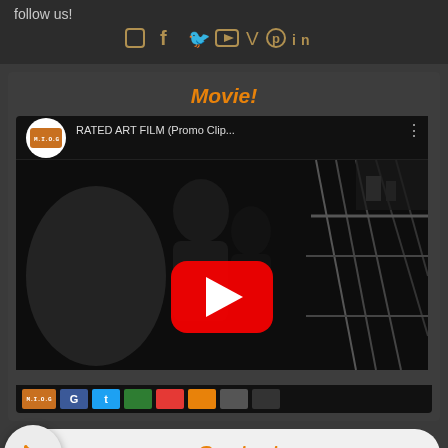follow us!
[Figure (illustration): Social media icons row: Facebook, Twitter, YouTube, Vimeo, Pinterest, LinkedIn]
Movie!
[Figure (screenshot): YouTube video thumbnail showing 'RATED ART FILM (Promo Clip...' with a black and white film scene showing two people near a staircase, with a YouTube play button overlay and channel logo.]
Contact